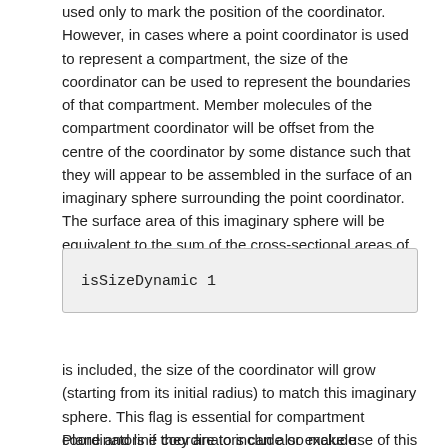used only to mark the position of the coordinator. However, in cases where a point coordinator is used to represent a compartment, the size of the coordinator can be used to represent the boundaries of that compartment. Member molecules of the compartment coordinator will be offset from the centre of the coordinator by some distance such that they will appear to be assembled in the surface of an imaginary sphere surrounding the point coordinator. The surface area of this imaginary sphere will be equivalent to the sum of the cross-sectional areas of all of the member molecules. If the line
isSizeDynamic 1
is included, the size of the coordinator will grow (starting from its initial radius) to match this imaginary sphere. This flag is essential for compartment coordinators if they are to include or exclude molecules because the coordinator shape handles collisions with all molecules and determines whether they should be kept outside or inside the compartment.
Plane and line coordinators can also make use of this flag,